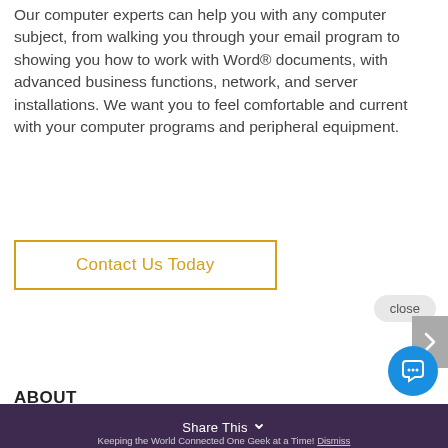Our computer experts can help you with any computer subject, from walking you through your email program to showing you how to work with Word® documents, with advanced business functions, network, and server installations. We want you to feel comfortable and current with your computer programs and peripheral equipment.
Contact Us Today
[Figure (screenshot): Chat popup with avatar showing a man, and text: Hi there, have a question? Text us here.]
ABOUT
Why Connected Geek
Share This  Keeping the World Connected One Geek at a Time! Dismiss